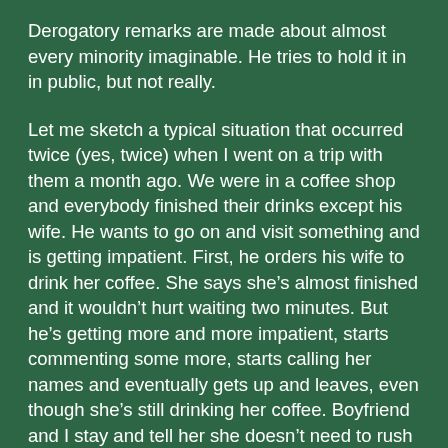Derogatory remarks are made about almost every minority imaginable. He tries to hold it in in public, but not really.
Let me sketch a typical situation that occurred twice (yes, twice) when I went on a trip with them a month ago. We were in a coffee shop and everybody finished their drinks except his wife. He wants to go on and visit something and is getting impatient. First, he orders his wife to drink her coffee. She says she’s almost finished and it wouldn’t hurt waiting two minutes. But he’s getting more and more impatient, starts commenting some more, starts calling her names and eventually gets up and leaves, even though she’s still drinking her coffee. Boyfriend and I stay and tell her she doesn’t need to rush and shouldn’t bother about him leaving, but she says something like “well, I have been drinking my coffee slowly, so we should just go”, gets up and leaves.
When I read this back, I’m stunned by how horrible it sounds